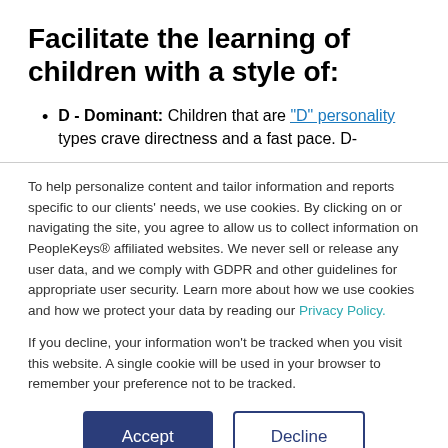Facilitate the learning of children with a style of:
D - Dominant: Children that are "D" personality types crave directness and a fast pace. D-
To help personalize content and tailor information and reports specific to our clients' needs, we use cookies. By clicking on or navigating the site, you agree to allow us to collect information on PeopleKeys® affiliated websites. We never sell or release any user data, and we comply with GDPR and other guidelines for appropriate user security. Learn more about how we use cookies and how we protect your data by reading our Privacy Policy.
If you decline, your information won't be tracked when you visit this website. A single cookie will be used in your browser to remember your preference not to be tracked.